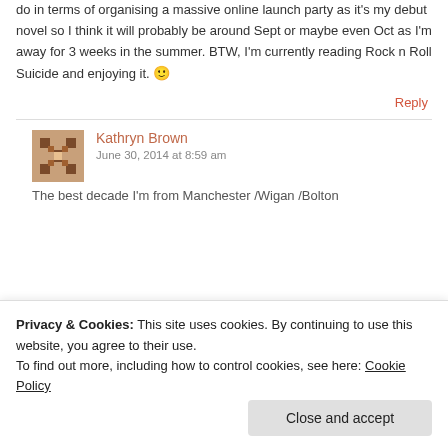do in terms of organising a massive online launch party as it's my debut novel so I think it will probably be around Sept or maybe even Oct as I'm away for 3 weeks in the summer. BTW, I'm currently reading Rock n Roll Suicide and enjoying it. 🙂
Reply
Kathryn Brown
June 30, 2014 at 8:59 am
The best decade I'm from Manchester /Wigan /Bolton
Privacy & Cookies: This site uses cookies. By continuing to use this website, you agree to their use. To find out more, including how to control cookies, see here: Cookie Policy
Close and accept